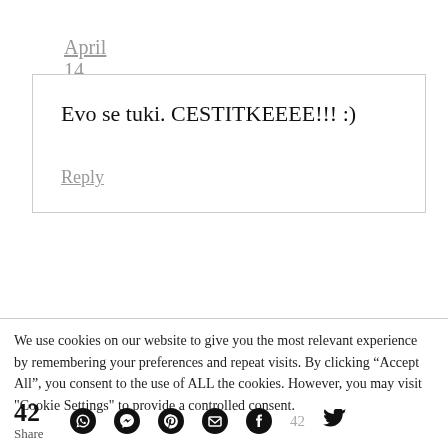April 14, 2012 at 13:19
Evo se tuki. CESTITKEEEE!!! :)
Reply
We use cookies on our website to give you the most relevant experience by remembering your preferences and repeat visits. By clicking “Accept All”, you consent to the use of ALL the cookies. However, you may visit "Cookie Settings" to provide a controlled consent.
42 Share